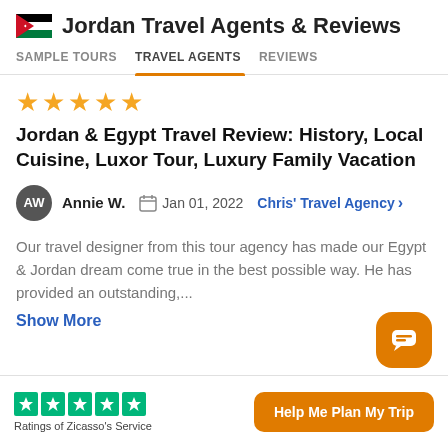Jordan Travel Agents & Reviews
SAMPLE TOURS  TRAVEL AGENTS  REVIEWS
[Figure (other): Five golden star rating icons]
Jordan & Egypt Travel Review: History, Local Cuisine, Luxor Tour, Luxury Family Vacation
AW  Annie W.  Jan 01, 2022  Chris' Travel Agency
Our travel designer from this tour agency has made our Egypt & Jordan dream come true in the best possible way. He has provided an outstanding,...
Show More
[Figure (other): Orange chat/message button icon]
[Figure (other): Five green Trustpilot star rating icons]
Ratings of Zicasso's Service
Help Me Plan My Trip